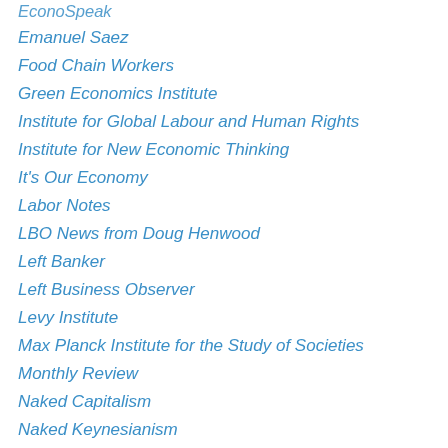EconoSpeak
Emanuel Saez
Food Chain Workers
Green Economics Institute
Institute for Global Labour and Human Rights
Institute for New Economic Thinking
It's Our Economy
Labor Notes
LBO News from Doug Henwood
Left Banker
Left Business Observer
Levy Institute
Max Planck Institute for the Study of Societies
Monthly Review
Naked Capitalism
Naked Keynesianism
New Economic Perspectives
New Faculty Majority
New Labor Forum
Ohio Part-Time Faculty Association